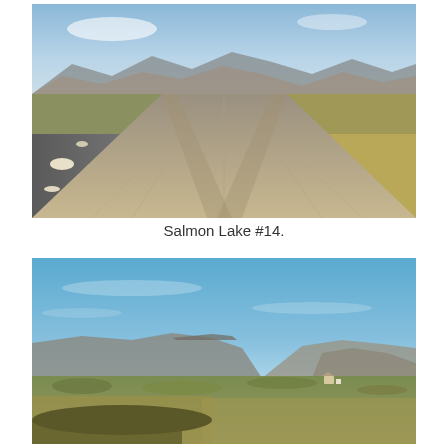[Figure (photo): A gravel road stretching into the distance through tundra landscape with mountains in the background. A rocky riverbed or gravel pit is visible on the left side. The road extends straight toward mountain ranges under a blue sky with sparse clouds.]
Salmon Lake #14.
[Figure (photo): A wide panoramic view of open tundra landscape with rolling hills and mountains in the background under a broad blue sky. A small building or structure is visible in the middle distance on the right side of the image.]